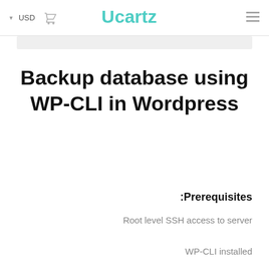USD  [cart icon]  Ucartz  [menu icon]
Backup database using WP-CLI in Wordpress
Prerequisites:
Root level SSH access to server
WP-CLI installed